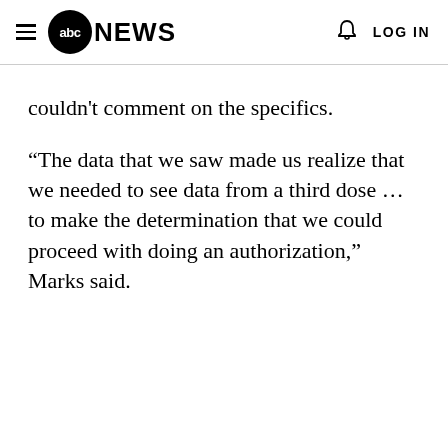abc NEWS  LOG IN
couldn't comment on the specifics.
“The data that we saw made us realize that we needed to see data from a third dose ... to make the determination that we could proceed with doing an authorization,” Marks said.